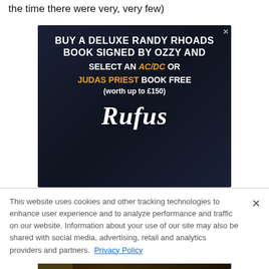the time there were very, very few)
[Figure (illustration): Advertisement for Rufus Publications: 'BUY A DELUXE RANDY RHOADS BOOK SIGNED BY OZZY AND SELECT AN AC/DC OR JUDAS PRIEST BOOK FREE (worth up to £150)' with Rufus logo on dark leather texture background.]
This website uses cookies and other tracking technologies to enhance user experience and to analyze performance and traffic on our website. Information about your use of our site may also be shared with social media, advertising, retail and analytics providers and partners. Privacy Policy
[Figure (illustration): Advertisement for 'At The Gates' concert at The Fillmore Silver Spring, August 29.]